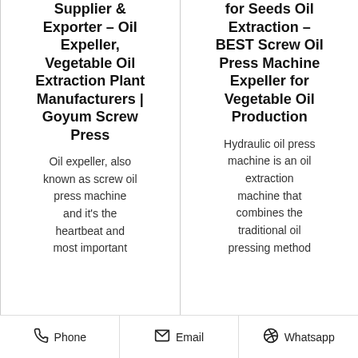Supplier & Exporter – Oil Expeller, Vegetable Oil Extraction Plant Manufacturers | Goyum Screw Press
for Seeds Oil Extraction – BEST Screw Oil Press Machine Expeller for Vegetable Oil Production
Oil expeller, also known as screw oil press machine and it's the heartbeat and most important
Hydraulic oil press machine is an oil extraction machine that combines the traditional oil pressing method
Phone   Email   Whatsapp